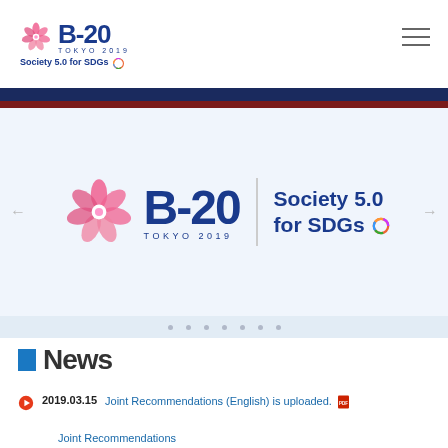B-20 TOKYO 2019 Society 5.0 for SDGs
[Figure (logo): B-20 Tokyo 2019 logo with cherry blossom icon and Society 5.0 for SDGs tagline — hero banner version]
News
2019.03.15  Joint Recommendations (English) is uploaded.
Joint Recommendations